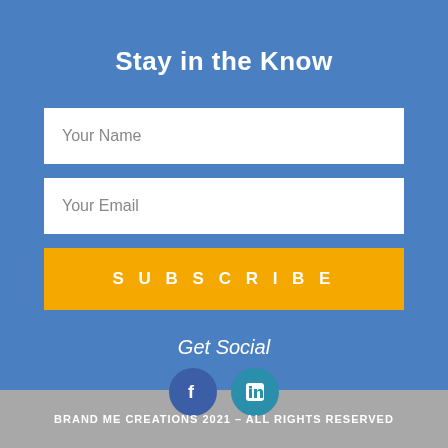Stay in the Know
Your Name
Your Email
SUBSCRIBE
Get Social
[Figure (illustration): Facebook and LinkedIn social media icon circles]
BRAND ME CREATIONS 2021 - ALL RIGHTS RESERVED